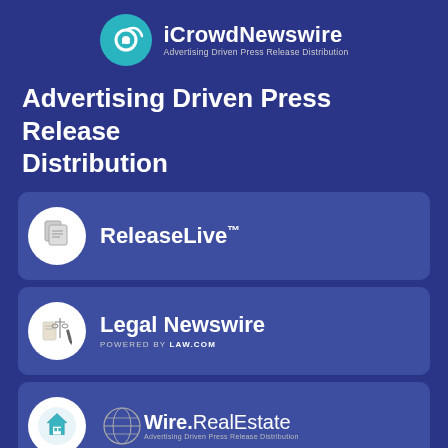[Figure (logo): iCrowdNewswire logo: circular teal icon with 'IC' and spiral, next to bold text 'iCrowdNewswire' with tagline 'Advertising Driven Press Release Distribution']
Advertising Driven Press Release Distribution
[Figure (logo): ReleaseLive card with documents icon and text 'ReleaseLive™']
[Figure (logo): Legal Newswire card with scales/legal icon and text 'Legal Newswire POWERED BY LAW.COM']
[Figure (logo): Wire.RealEstate card with house icon and globe logo 'Wire.RealEstate Advertising Driven Press Release Distribution']
[Figure (logo): iCrowdMarketing card with building/marketing icon and text 'iCrowdMarketing']